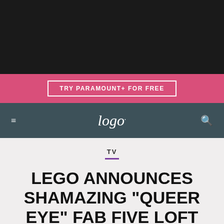[Figure (screenshot): Black top bar navigation area]
[Figure (screenshot): Pink banner with TRY PARAMOUNT+ FOR FREE button]
logo.
TV
LEGO ANNOUNCES SHAMAZING "QUEER EYE" FAB FIVE LOFT SET
CAN YOU BELIEVE?